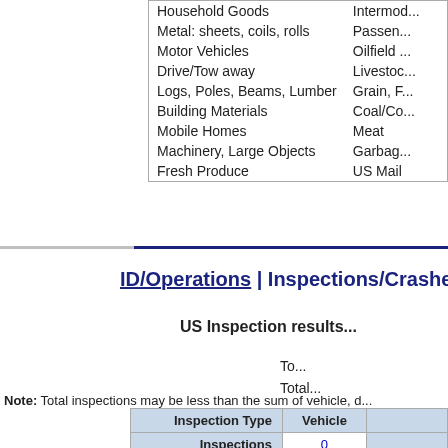|  |  |
| --- | --- |
| Household Goods | Intermod... |
| Metal: sheets, coils, rolls | Passen... |
| Motor Vehicles | Oilfield... |
| Drive/Tow away | Livestoc... |
| Logs, Poles, Beams, Lumber | Grain, F... |
| Building Materials | Coal/Co... |
| Mobile Homes | Meat |
| Machinery, Large Objects | Garbag... |
| Fresh Produce | US Mail |
ID/Operations | Inspections/Crashes In U...
US Inspection results...
To...
Total...
Note: Total inspections may be less than the sum of vehicle, d...
| Inspection Type | Vehicle |  |
| --- | --- | --- |
| Inspections | 0 |  |